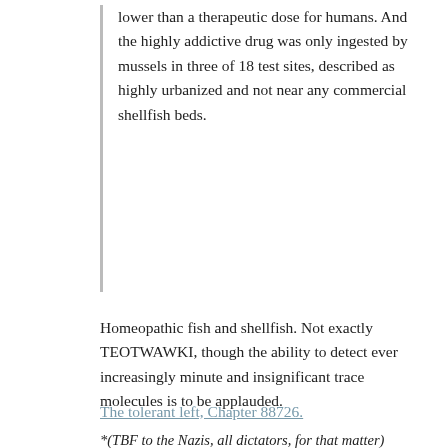lower than a therapeutic dose for humans. And the highly addictive drug was only ingested by mussels in three of 18 test sites, described as highly urbanized and not near any commercial shellfish beds.
Homeopathic fish and shellfish. Not exactly TEOTWAWKI, though the ability to detect ever increasingly minute and insignificant trace molecules is to be applauded.
The tolerant left, Chapter 88726.
*(TBF to the Nazis, all dictators, for that matter)
Posted by: Farnsworth M Muldoon | May 21, 2019 at 13:50
Titania McGrath: